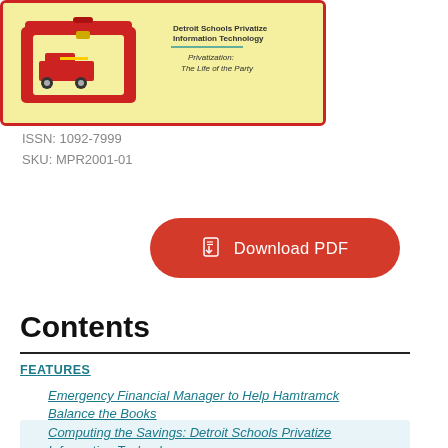[Figure (illustration): Cover image of a magazine featuring a red lunchbox/toolbox on a yellow background with red border. Right side shows text listing article titles: 'Detroit Schools Privatize Information Technology', 'Privatization: The Life of the Party']
ISSN: 1092-7999
SKU: MPR2001-01
Download PDF
Contents
FEATURES
Emergency Financial Manager to Help Hamtramck Balance the Books
Computing the Savings: Detroit Schools Privatize Information Technology
Faulty School Bus Privatization Can Take Districts for a Ride